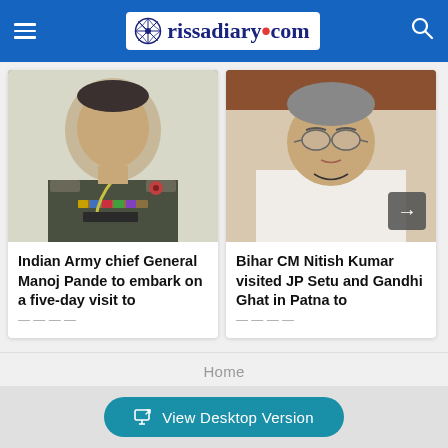orissadiary.com
[Figure (photo): Indian Army chief General Manoj Pande in military uniform with medals and decorations]
Indian Army chief General Manoj Pande to embark on a five-day visit to
[Figure (photo): Bihar CM Nitish Kumar in white kurta, seated, with an arrow navigation button overlay]
Bihar CM Nitish Kumar visited JP Setu and Gandhi Ghat in Patna to
Home
View Desktop Version